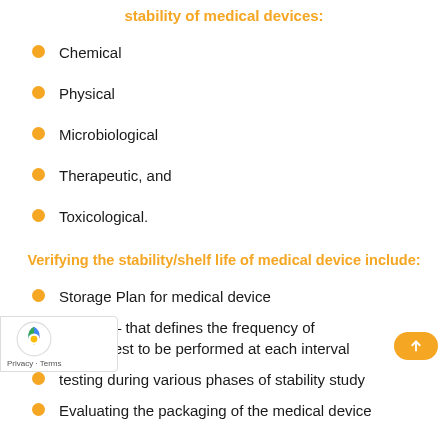stability of medical devices:
Chemical
Physical
Microbiological
Therapeutic, and
Toxicological.
Verifying the stability/shelf life of medical device include:
Storage Plan for medical device
mpling plan – that defines the frequency of mpling and test to be performed at each interval
testing during various phases of stability study
Evaluating the packaging of the medical device